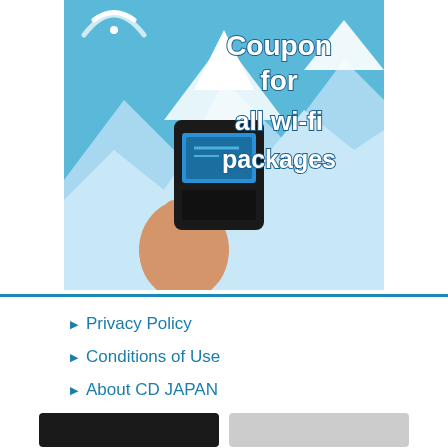[Figure (advertisement): Wi-fi router device held in hand against snowy mountain background with text 'Coupon for all wi-fi packages' and wifi symbol]
Privacy Policy
Conditions of Use
About CD JAPAN
FAQ
Returns Policy
CDJapan Rewards
Affiliate
SIM Card & WiFi Rental